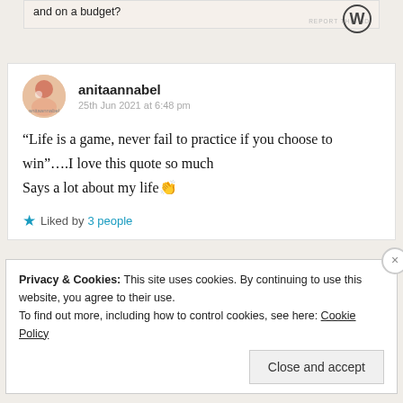and on a budget?
[Figure (logo): WordPress logo W in circle]
REPORT THIS AD
anitaannabel
25th Jun 2021 at 6:48 pm
“Life is a game, never fail to practice if you choose to win”….I love this quote so much
Says a lot about my life👏
Liked by 3 people
Privacy & Cookies: This site uses cookies. By continuing to use this website, you agree to their use.
To find out more, including how to control cookies, see here: Cookie Policy
Close and accept